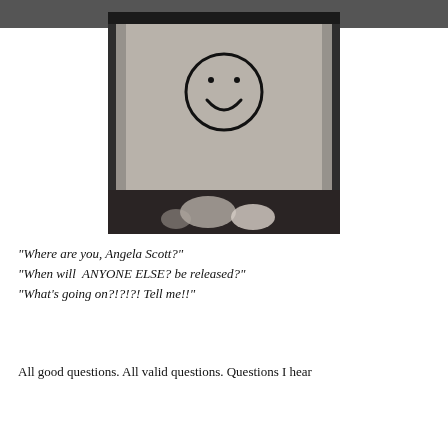[Figure (photo): Black and white photograph of a piece of paper with a hand-drawn smiley face (circle with two dot eyes and a curved smile) on it. The photo has dark edges and a blurred bottom section.]
"Where are you, Angela Scott?"
"When will ANYONE ELSE? be released?"
"What's going on?!?!?! Tell me!!"
All good questions. All valid questions. Questions I hear